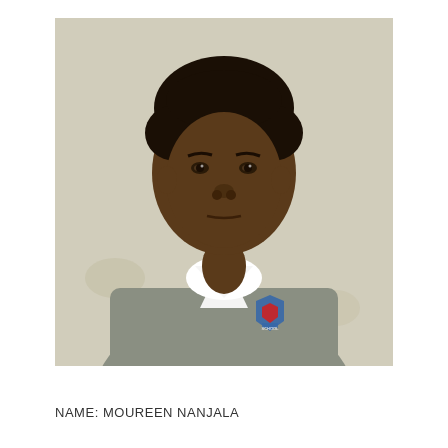[Figure (photo): Portrait photo of a young female student wearing a grey school uniform sweater with a white collared shirt underneath. A school badge/crest is visible on the left chest of the sweater. The background is a plain light beige/cream wall. The student has a neutral/serious expression.]
NAME: MOUREEN NANJALA